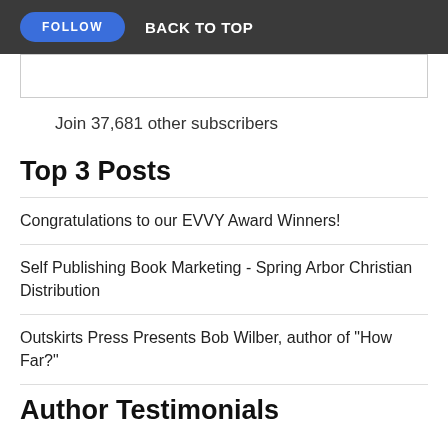FOLLOW   BACK TO TOP
Join 37,681 other subscribers
Top 3 Posts
Congratulations to our EVVY Award Winners!
Self Publishing Book Marketing - Spring Arbor Christian Distribution
Outskirts Press Presents Bob Wilber, author of "How Far?"
Author Testimonials